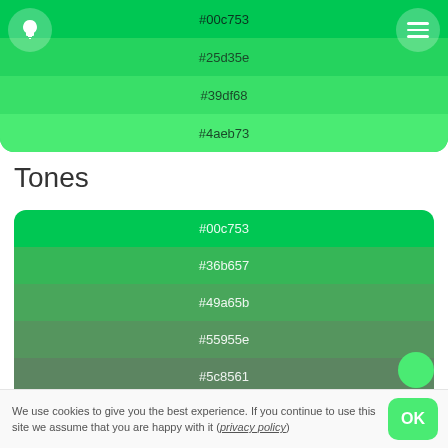[Figure (infographic): Color swatch palette showing green shades: #00c753, #25d35e, #39df68, #4aeb73 with lightbulb icon and hamburger menu icon]
Tones
[Figure (infographic): Tones color swatch showing progressively desaturated greens: #00c753, #36b657, #49a65b, #55955e, #5c8561, #617562]
We use cookies to give you the best experience. If you continue to use this site we assume that you are happy with it (privacy policy)